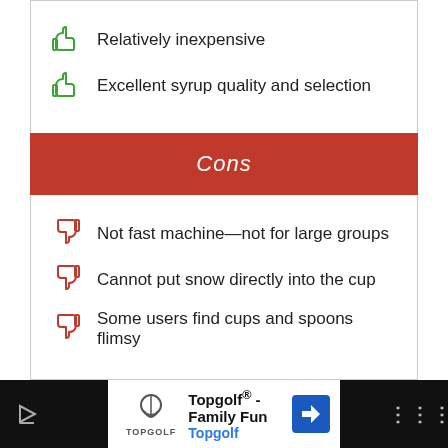Relatively inexpensive
Excellent syrup quality and selection
Cons
Not fast machine—not for large groups
Cannot put snow directly into the cup
Some users find cups and spoons flimsy
5. Cuisinart SCM-10
[Figure (other): Advertisement banner for Topgolf Family Fun]